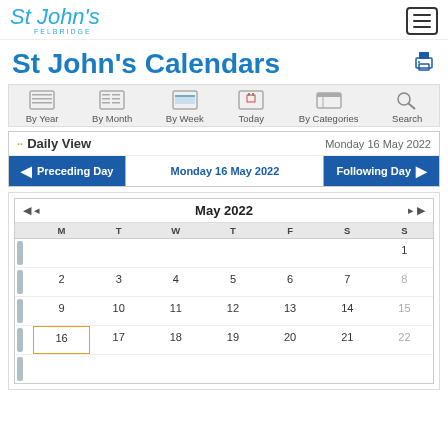St John's Felbridge — site header with logo and menu button
St John's Calendars
[Figure (screenshot): Calendar navigation bar with icons: By Year, By Month, By Week, Today, By Categories, Search]
Daily View — Monday 16 May 2022
Preceding Day | Monday 16 May 2022 | Following Day
[Figure (table-as-image): May 2022 monthly calendar showing dates 1–22 with Monday 16 highlighted in orange border]